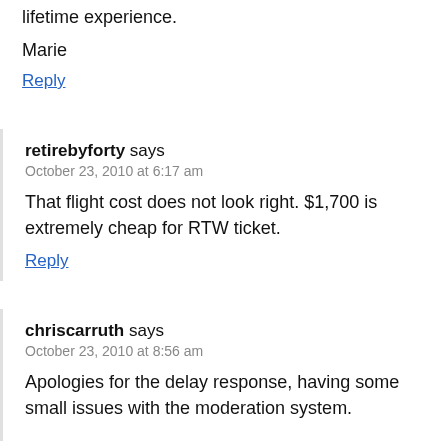lifetime experience.
Marie
Reply
retirebyforty says
October 23, 2010 at 6:17 am
That flight cost does not look right. $1,700 is extremely cheap for RTW ticket.
Reply
chriscarruth says
October 23, 2010 at 8:56 am
Apologies for the delay response, having some small issues with the moderation system.